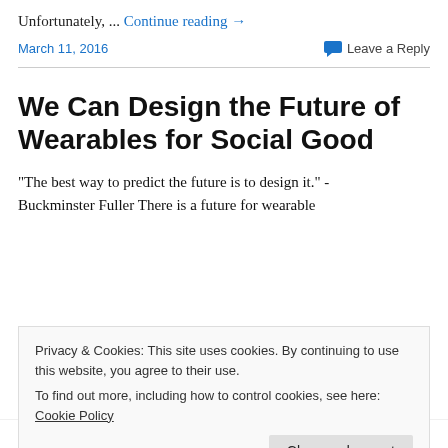Unfortunately, ... Continue reading →
March 11, 2016   Leave a Reply
We Can Design the Future of Wearables for Social Good
"The best way to predict the future is to design it." - Buckminster Fuller There is a future for wearable
Privacy & Cookies: This site uses cookies. By continuing to use this website, you agree to their use. To find out more, including how to control cookies, see here: Cookie Policy
April 14, 2015   Leave a Reply